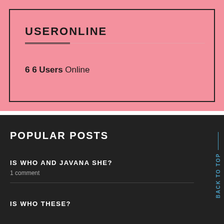USERONLINE
66 Users Online
POPULAR POSTS
IS WHO AND JAVANA SHE?
1 comment
IS WHO THESE?
BACK TO TOP